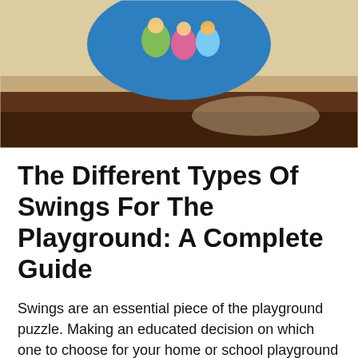[Figure (photo): Partial view of a playground scene with sand, soil/mulch ground, and a blue oval element with colorful children figures at the top. Background shows sandy texture transitioning to dark brown earth.]
The Different Types Of Swings For The Playground: A Complete Guide
Swings are an essential piece of the playground puzzle. Making an educated decision on which one to choose for your home or school playground is essential to ensure the safety of the children using the swings and that the swings are going to last as long as possible